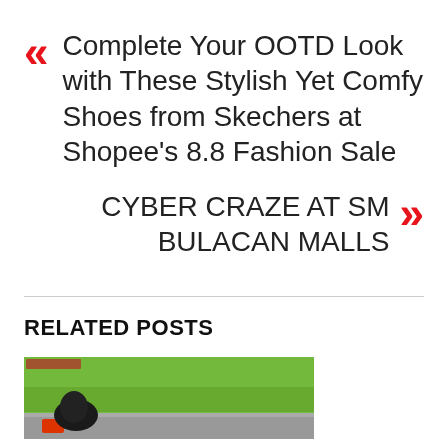« Complete Your OOTD Look with These Stylish Yet Comfy Shoes from Skechers at Shopee's 8.8 Fashion Sale
CYBER CRAZE AT SM BULACAN MALLS »
RELATED POSTS
[Figure (photo): Person sitting on a road or path with green grass lawn in background, viewed from behind, wearing a red shirt]